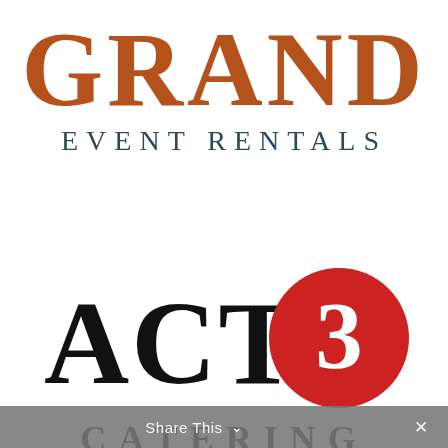[Figure (logo): Grand Event Rentals logo: large 'GRAND' text in brown/rust color, with 'EVENT RENTALS' below in dark teal/slate serif letters]
[Figure (logo): ACT 3 logo: bold black serif 'ACT' text with a red circle containing white '3']
CATERING
Share This  ×